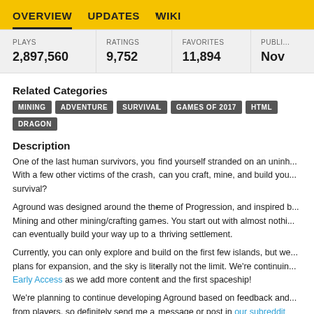OVERVIEW   UPDATES   WIKI
| PLAYS | RATINGS | FAVORITES | PUBLI... |
| --- | --- | --- | --- |
| 2,897,560 | 9,752 | 11,894 | Nov |
Related Categories
MINING
ADVENTURE
SURVIVAL
GAMES OF 2017
HTML
DRAGON
Description
One of the last human survivors, you find yourself stranded on an uninh... With a few other victims of the crash, can you craft, mine, and build you... survival?
Aground was designed around the theme of Progression, and inspired b... Mining and other mining/crafting games. You start out with almost nothi... can eventually build your way up to a thriving settlement.
Currently, you can only explore and build on the first few islands, but we... plans for expansion, and the sky is literally not the limit. We're continuin... Early Access as we add more content and the first spaceship!
We're planning to continue developing Aground based on feedback and... from players, so definitely send me a message or post in our subreddit